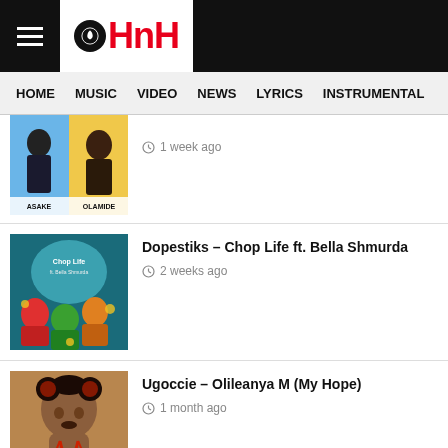HNH - HOME | MUSIC | VIDEO | NEWS | LYRICS | INSTRUMENTAL
[partial title] – 1 week ago
Dopestiks – Chop Life ft. Bella Shmurda – 2 weeks ago
Ugoccie – Olileanya M (My Hope) – 1 month ago